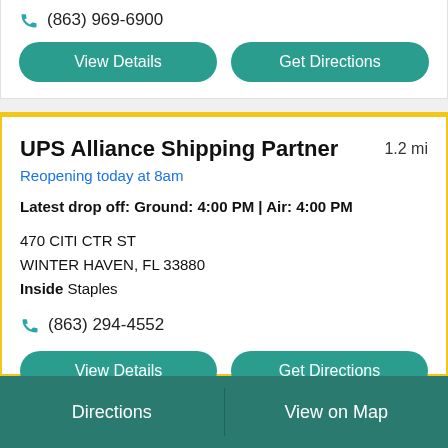(863) 969-6900
View Details | Get Directions
UPS Alliance Shipping Partner  1.2 mi
Reopening today at 8am
Latest drop off: Ground: 4:00 PM | Air: 4:00 PM
470 CITI CTR ST
WINTER HAVEN, FL 33880
Inside Staples
(863) 294-4552
View Details | Get Directions
Directions | View on Map